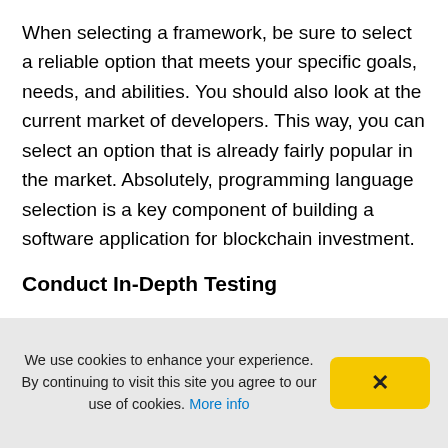When selecting a framework, be sure to select a reliable option that meets your specific goals, needs, and abilities. You should also look at the current market of developers. This way, you can select an option that is already fairly popular in the market. Absolutely, programming language selection is a key component of building a software application for blockchain investment.
Conduct In-Depth Testing
We use cookies to enhance your experience. By continuing to visit this site you agree to our use of cookies. More info